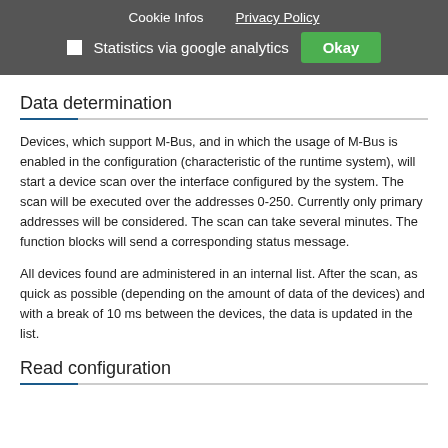Cookie Infos   Privacy Policy
☐ Statistics via google analytics   Okay
Data determination
Devices, which support M-Bus, and in which the usage of M-Bus is enabled in the configuration (characteristic of the runtime system), will start a device scan over the interface configured by the system. The scan will be executed over the addresses 0-250. Currently only primary addresses will be considered. The scan can take several minutes. The function blocks will send a corresponding status message.
All devices found are administered in an internal list. After the scan, as quick as possible (depending on the amount of data of the devices) and with a break of 10 ms between the devices, the data is updated in the list.
Read configuration